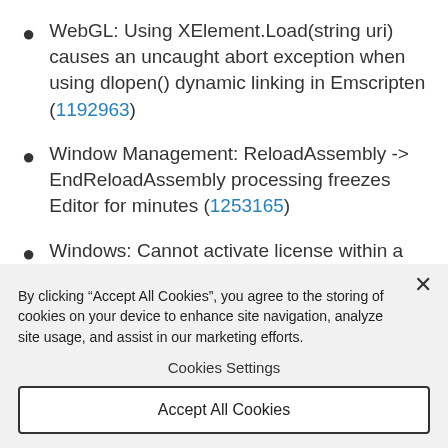WebGL: Using XElement.Load(string uri) causes an uncaught abort exception when using dlopen() dynamic linking in Emscripten (1192963)
Window Management: ReloadAssembly -> EndReloadAssembly processing freezes Editor for minutes (1253165)
Windows: Cannot activate license within a docker
By clicking “Accept All Cookies”, you agree to the storing of cookies on your device to enhance site navigation, analyze site usage, and assist in our marketing efforts.
Cookies Settings
Accept All Cookies